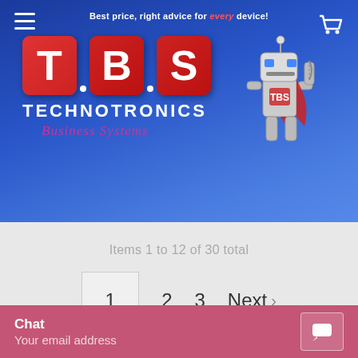[Figure (logo): TBS Technotronics Business Systems logo with red block letters T, B, S, robot mascot, and tagline 'Best price, right advice for every device!']
Items 1 to 12 of 30 total
1  2  3  Next >
Subscribe To Our Newsletter
Your email address